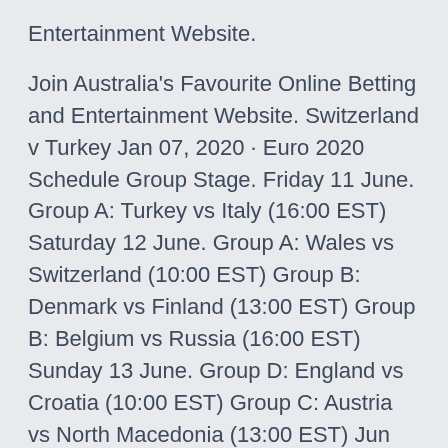Entertainment Website.
Join Australia's Favourite Online Betting and Entertainment Website. Switzerland v Turkey Jan 07, 2020 · Euro 2020 Schedule Group Stage. Friday 11 June. Group A: Turkey vs Italy (16:00 EST) Saturday 12 June. Group A: Wales vs Switzerland (10:00 EST) Group B: Denmark vs Finland (13:00 EST) Group B: Belgium vs Russia (16:00 EST) Sunday 13 June. Group D: England vs Croatia (10:00 EST) Group C: Austria vs North Macedonia (13:00 EST) Jun 04, 2021 · What are Switzerland's group fixtures at EURO 2020? Switzerland vs Wales, 12 June, 15:00 (Olympic Stadium, Baku) Switzerland vs Italy, 16 June, 21:00 (Stadio Olympico, Rome) Switzerland vs Turkey Jun 11,